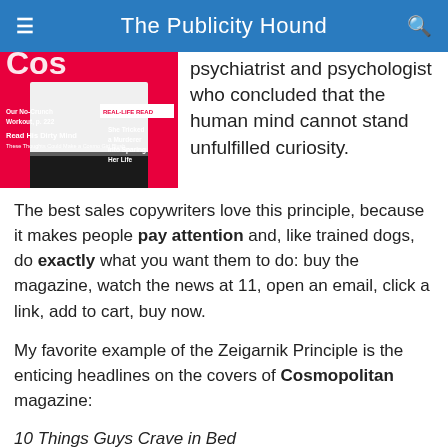The Publicity Hound
[Figure (photo): Cosmopolitan magazine cover showing a woman in white outfit with headlines including 'Our No-Crunch Workout, p. 222', 'Read His Dirty Mind – These Thoughts Could Make a Cosmo Girl Blush', 'REAL-LIFE READ: She Tricked a Murderer Into Sparing Her Life']
psychiatrist and psychologist who concluded that the human mind cannot stand unfulfilled curiosity.
The best sales copywriters love this principle, because it makes people pay attention and, like trained dogs, do exactly what you want them to do: buy the magazine, watch the news at 11, open an email, click a link, add to cart, buy now.
My favorite example of the Zeigarnik Principle is the enticing headlines on the covers of Cosmopolitan magazine:
10 Things Guys Crave in Bed
The Surprising Trait 80% of Men Find Sexy
Read His Dirty Mind — These Thoughts Could make a Cosmo